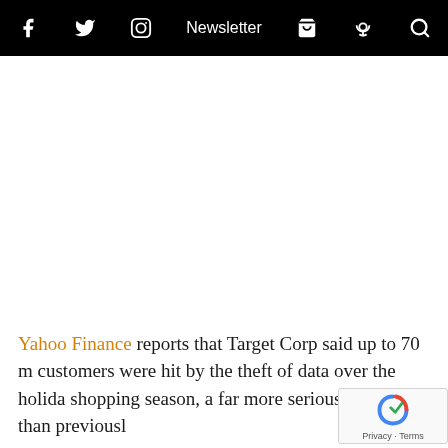f [facebook] [twitter] [instagram] Newsletter [cart] [podcast] [search]
Yahoo Finance reports that Target Corp said up to 70 m customers were hit by the theft of data over the holiday shopping season, a far more serious breach than previously